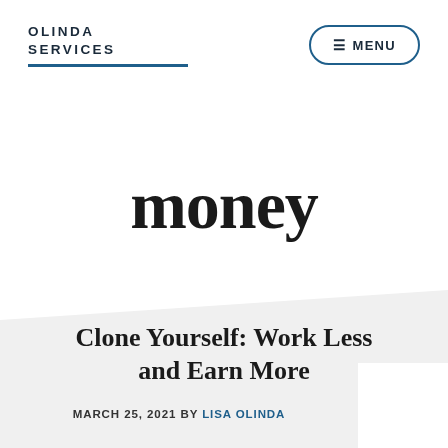OLINDA SERVICES
money
Clone Yourself: Work Less and Earn More
MARCH 25, 2021 By Lisa Olinda